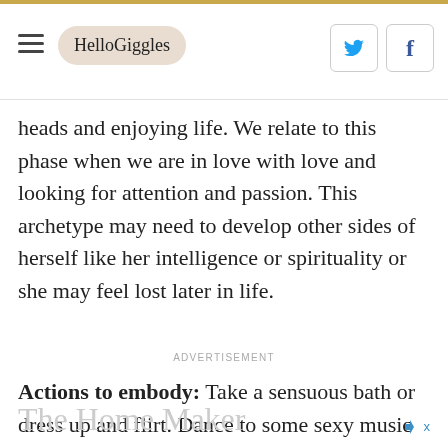HelloGiggles
heads and enjoying life. We relate to this phase when we are in love with love and looking for attention and passion. This archetype may need to develop other sides of herself like her intelligence or spirituality or she may feel lost later in life.
ADVERTISEMENT
Actions to embody: Take a sensuous bath or dress up and flirt. Dance to some sexy music and get in touch with your feminine side.
The Home Maker